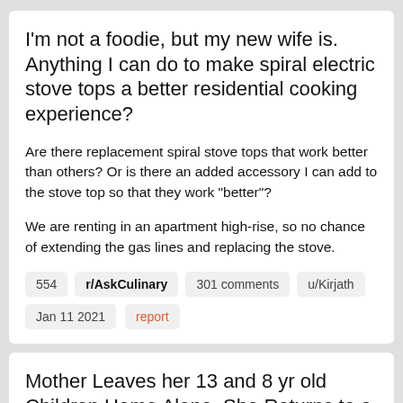I'm not a foodie, but my new wife is. Anything I can do to make spiral electric stove tops a better residential cooking experience?
Are there replacement spiral stove tops that work better than others? Or is there an added accessory I can add to the stove top so that they work "better"?
We are renting in an apartment high-rise, so no chance of extending the gas lines and replacing the stove.
554   r/AskCulinary   301 comments   u/Kirjath   Jan 11 2021   report
Mother Leaves her 13 and 8 yr old Children Home Alone, She Returns to a Dark House and Boiling Water on the Stove, Fifteen...